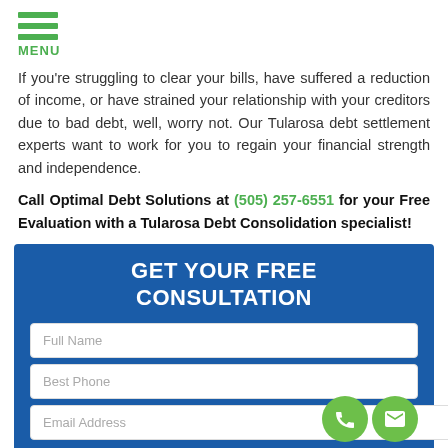MENU
If you're struggling to clear your bills, have suffered a reduction of income, or have strained your relationship with your creditors due to bad debt, well, worry not. Our Tularosa debt settlement experts want to work for you to regain your financial strength and independence.
Call Optimal Debt Solutions at (505) 257-6551 for your Free Evaluation with a Tularosa Debt Consolidation specialist!
GET YOUR FREE CONSULTATION
Full Name
Best Phone
Email Address